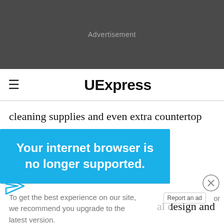[Figure (other): Dark gray advertisement banner area with 'Advertisement' label in light gray text]
≡  UExpress
cleaning supplies and even extra countertop prep areas to extend a kitchen," she said. "Understanding [...]al design and [...]
[Figure (infographic): Blue overlay banner reading 'Your internet browser is no longer supported.' with upgrade message below]
your extra food items should have good ventilation